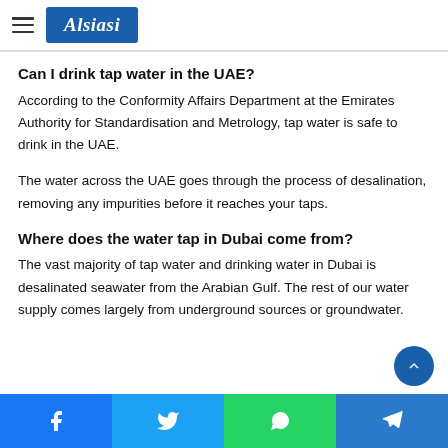Alsiasi
Can I drink tap water in the UAE?
According to the Conformity Affairs Department at the Emirates Authority for Standardisation and Metrology, tap water is safe to drink in the UAE.
The water across the UAE goes through the process of desalination, removing any impurities before it reaches your taps.
Where does the water tap in Dubai come from?
The vast majority of tap water and drinking water in Dubai is desalinated seawater from the Arabian Gulf. The rest of our water supply comes largely from underground sources or groundwater.